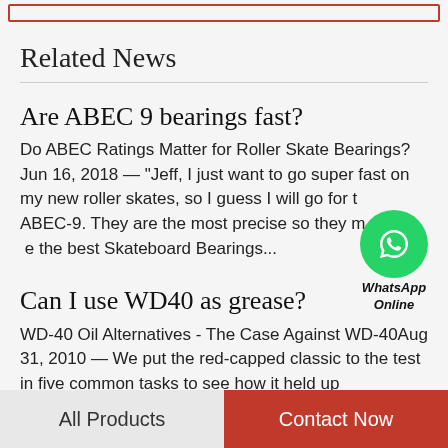Related News
Are ABEC 9 bearings fast?
Do ABEC Ratings Matter for Roller Skate Bearings? Jun 16, 2018 — "Jeff, I just want to go super fast on my new roller skates, so I guess I will go for the ABEC-9. They are the most precise so they must be the best Skateboard Bearings...
[Figure (illustration): WhatsApp Online button - green circle with phone icon and 'WhatsApp Online' label]
Can I use WD40 as grease?
WD-40 Oil Alternatives - The Case Against WD-40Aug 31, 2010 — We put the red-capped classic to the test in five common tasks to see how it held up
All Products   Contact Now